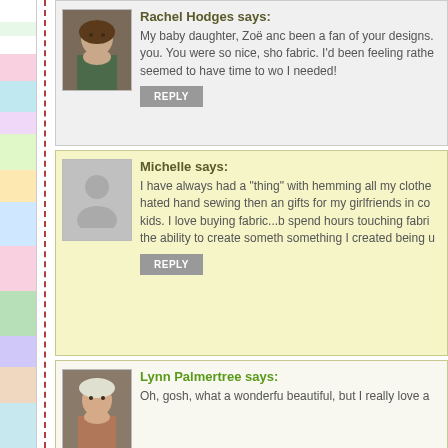Rachel Hodges says: My baby daughter, Zoë and been a fan of your designs. you. You were so nice, sho fabric. I'd been feeling rathe seemed to have time to wo I needed!
Michelle says: I have always had a "thing" with hemming all my clothe hated hand sewing then an gifts for my girlfriends in co kids. I love buying fabric...b spend hours touching fabri the ability to create someth something I created being u
Lynn Palmertree says: Oh, gosh, what a wonderfu beautiful, but I really love a